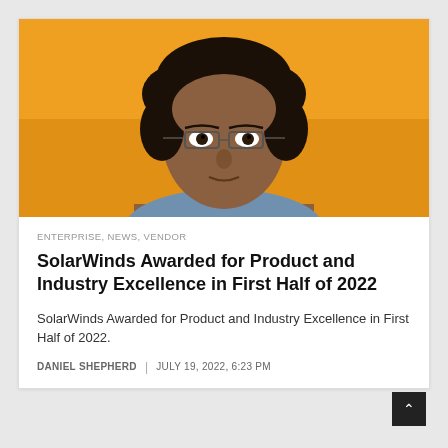[Figure (photo): Headshot of a man with curly dark hair and rectangular glasses against an orange background]
ENTERPRISE, NEWS, VENDOR
SolarWinds Awarded for Product and Industry Excellence in First Half of 2022
SolarWinds Awarded for Product and Industry Excellence in First Half of 2022.
DANIEL SHEPHERD | JULY 19, 2022, 6:23 PM